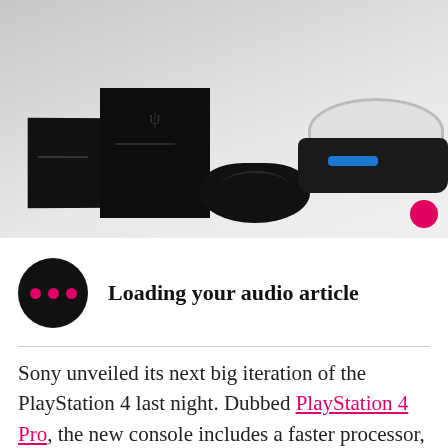[Figure (photo): Photo of PlayStation 4 Slim, PlayStation 4 Pro consoles, a DualShock 4 controller, PlayStation VR headset, and Move controller accessories on a light gray surface.]
Loading your audio article
Sony unveiled its next big iteration of the PlayStation 4 last night. Dubbed PlayStation 4 Pro, the new console includes a faster processor, better